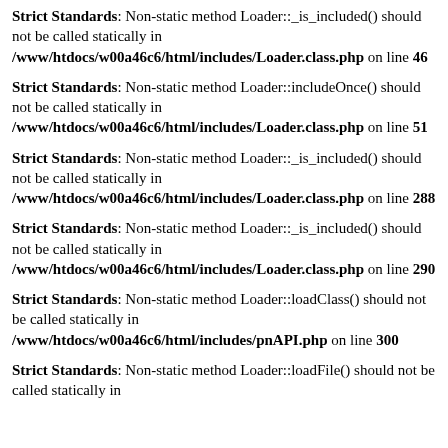Strict Standards: Non-static method Loader::_is_included() should not be called statically in /www/htdocs/w00a46c6/html/includes/Loader.class.php on line 46
Strict Standards: Non-static method Loader::includeOnce() should not be called statically in /www/htdocs/w00a46c6/html/includes/Loader.class.php on line 51
Strict Standards: Non-static method Loader::_is_included() should not be called statically in /www/htdocs/w00a46c6/html/includes/Loader.class.php on line 288
Strict Standards: Non-static method Loader::_is_included() should not be called statically in /www/htdocs/w00a46c6/html/includes/Loader.class.php on line 290
Strict Standards: Non-static method Loader::loadClass() should not be called statically in /www/htdocs/w00a46c6/html/includes/pnAPI.php on line 300
Strict Standards: Non-static method Loader::loadFile() should not be called statically in